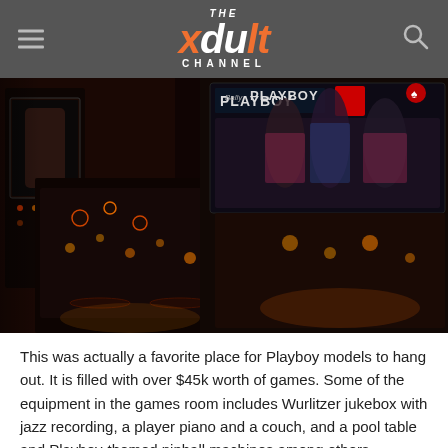THE xdult CHANNEL
[Figure (photo): Playboy-themed pinball machines in a games room, showing two pinball machines with illuminated playfields and a Playboy backglass display, dark atmospheric lighting]
This was actually a favorite place for Playboy models to hang out. It is filled with over $45k worth of games. Some of the equipment in the games room includes Wurlitzer jukebox with jazz recording, a player piano and a couch, and a pool table and Playboy-themed pinball machines among others.